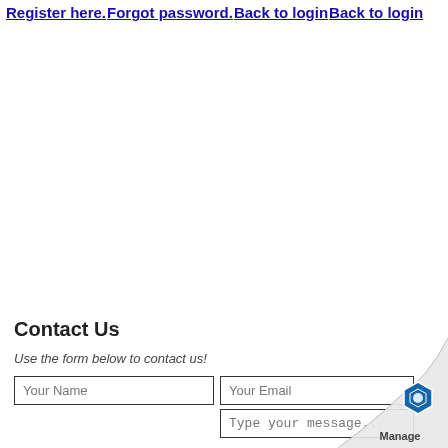Register here. Forgot password. Back to login Back to login
Contact Us
Use the form below to contact us!
[Figure (screenshot): Web form with Your Name and Your Email input fields, and a Type your message... text area. Bottom right has a page-curl with a Manage logo badge.]